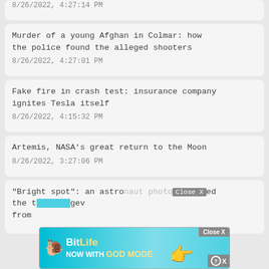8/26/2022, 4:27:14 PM
Murder of a young Afghan in Colmar: how the police found the alleged shooters
8/26/2022, 4:27:01 PM
Fake fire in crash test: insurance company ignites Tesla itself
8/26/2022, 4:15:32 PM
Artemis, NASA's great return to the Moon
8/26/2022, 3:27:06 PM
"Bright spot": an astronaut photographed the t... gev from
[Figure (screenshot): BitLife mobile game ad overlay with 'NOW WITH GOD MODE' text and close buttons]